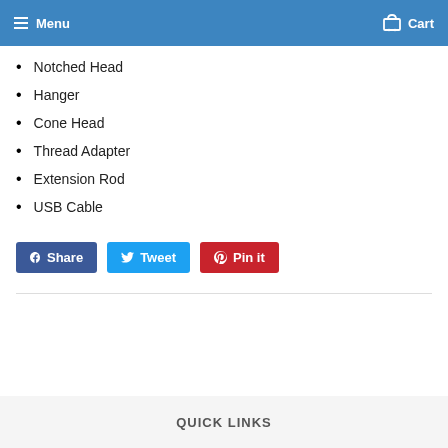Menu  Cart
Notched Head
Hanger
Cone Head
Thread Adapter
Extension Rod
USB Cable
Share  Tweet  Pin it
QUICK LINKS